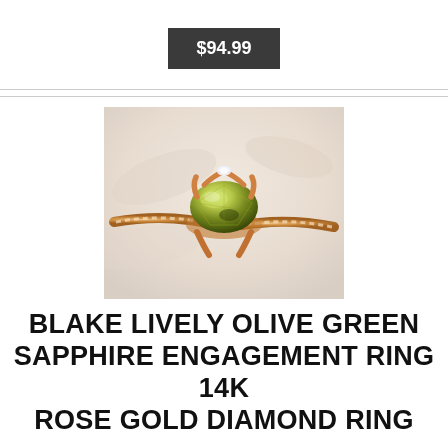$94.99
[Figure (photo): Close-up photo of a Blake Lively olive green sapphire engagement ring in 14K rose gold with diamond band. The ring features a large oval olive green sapphire center stone set in rose gold prongs, with a pavé diamond band, photographed on a light background.]
BLAKE LIVELY OLIVE GREEN SAPPHIRE ENGAGEMENT RING 14K ROSE GOLD DIAMOND RING